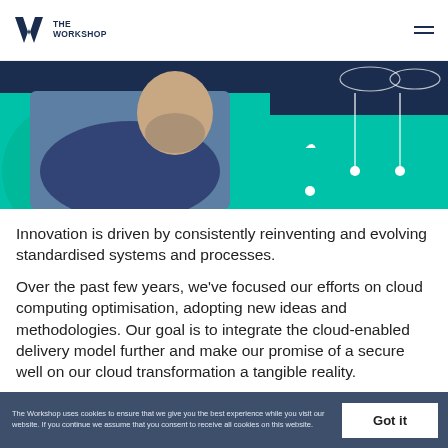THE WORKSHOP
[Figure (photo): Banner image showing a man in a navy shirt outdoors, overlaid with a teal/dark-navy graphic showing cloud computing icons and connected nodes on the right side.]
Innovation is driven by consistently reinventing and evolving standardised systems and processes.
Over the past few years, we've focused our efforts on cloud computing optimisation, adopting new ideas and methodologies. Our goal is to integrate the cloud-enabled delivery model further and make our promise of a secure well on our cloud transformation a tangible reality.
The Workshop uses cookies to ensure that we give you the best experience while you visit our website. If you continue we assume that you consent to receive all cookies on this website.